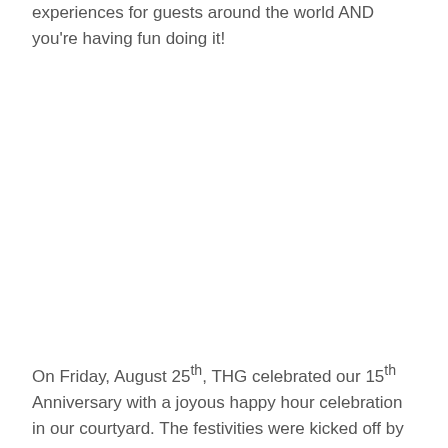experiences for guests around the world AND you're having fun doing it!
On Friday, August 25th, THG celebrated our 15th Anniversary with a joyous happy hour celebration in our courtyard. The festivities were kicked off by Phil,